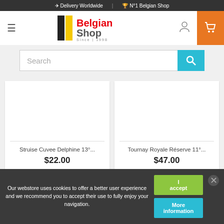✈ Delivery Worldwide | 🏆 N°1 Belgian Shop
[Figure (logo): Belgian Shop logo with black and yellow vertical bars and red text 'Belgian Shop Since 1998']
Search
[Figure (screenshot): Product card: Struise Cuvee Delphine 13°... $22.00]
[Figure (screenshot): Product card: Tournay Royale Réserve 11°... $47.00]
Our webstore uses cookies to offer a better user experience and we recommend you to accept their use to fully enjoy your navigation.
I accept
More information